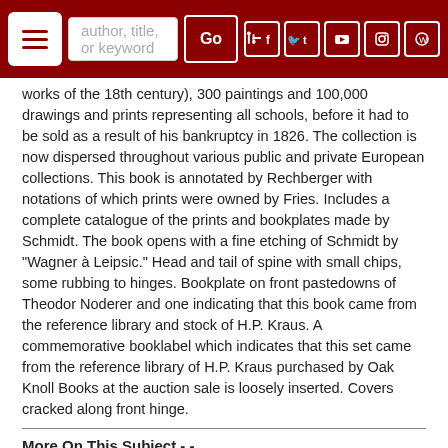Navigation bar with hamburger menu, search box, Go button, and social icons
works of the 18th century), 300 paintings and 100,000 drawings and prints representing all schools, before it had to be sold as a result of his bankruptcy in 1826. The collection is now dispersed throughout various public and private European collections. This book is annotated by Rechberger with notations of which prints were owned by Fries. Includes a complete catalogue of the prints and bookplates made by Schmidt. The book opens with a fine etching of Schmidt by "Wagner à Leipsic." Head and tail of spine with small chips, some rubbing to hinges. Bookplate on front pastedowns of Theodor Noderer and one indicating that this book came from the reference library and stock of H.P. Kraus. A commemorative booklabel which indicates that this set came from the reference library of H.P. Kraus purchased by Oak Knoll Books at the auction sale is loosely inserted. Covers cracked along front hinge.
More On This Subject - -
Book Collecting
Book Illustration
Bookplates
See More Items By - -
Auguste Guillaume Craven